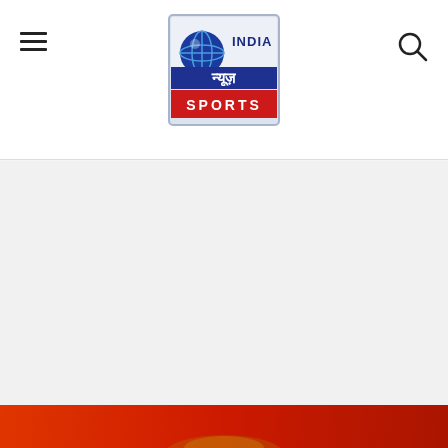India News Sports - navigation header with logo
[Figure (logo): India News Sports logo — globe icon with 'INDIA' text in blue, Hindi text 'न्यूज़' on blue background, 'SPORTS' on red banner]
[Figure (photo): Partial photo visible at the bottom of the page showing a sports-related image on a red/orange background]